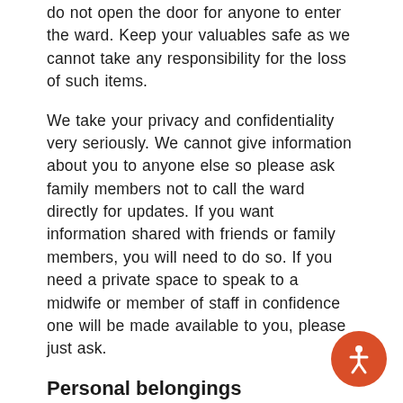do not open the door for anyone to enter the ward. Keep your valuables safe as we cannot take any responsibility for the loss of such items.
We take your privacy and confidentiality very seriously. We cannot give information about you to anyone else so please ask family members not to call the ward directly for updates. If you want information shared with friends or family members, you will need to do so. If you need a private space to speak to a midwife or member of staff in confidence one will be made available to you, please just ask.
Personal belongings
Please ensure your belongings are stored in your bedside locker. The area around beds needs to be clutter-free to keep everyone safe, ensure all sta__ can move freely around your bed when caring for